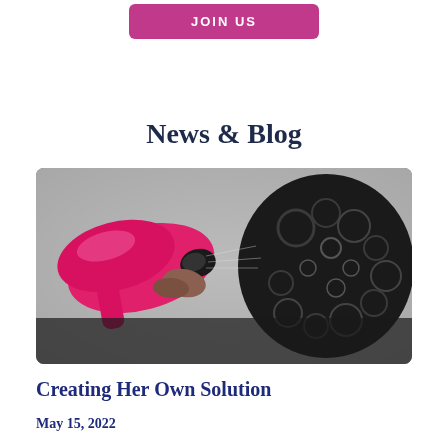JOIN US
News & Blog
[Figure (photo): A person holding a pink hair dryer pointed at curly dark hair, close-up shot with gray background]
Creating Her Own Solution
May 15, 2022